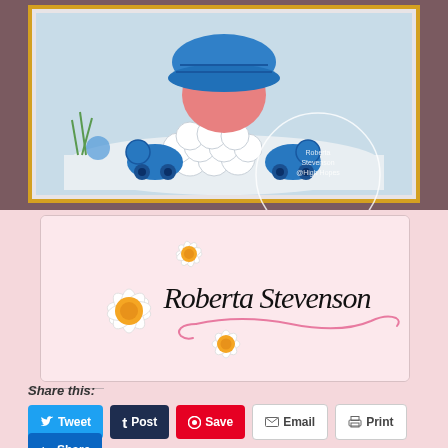[Figure (photo): Crafting card image showing a character with a blue bonnet and blue roller skates surrounded by snowballs, in a snowy winter scene with a yellow border. A watermark circle reading 'Roberta Stevenson @ High Hopes' overlays the top right corner.]
[Figure (logo): Roberta Stevenson signature logo on a light pink background with white daisy flowers with yellow centers arranged around the cursive script name 'Roberta Stevenson' in black, with a pink decorative swirl underline.]
Share this:
Tweet | Post | Save | Email | Print | Share